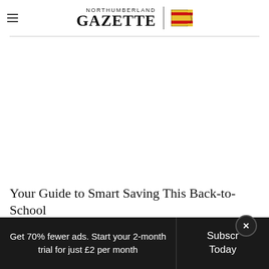NORTHUMBERLAND GAZETTE
[Figure (photo): Large white/blank image area below the header, representing a main article photo placeholder]
Your Guide to Smart Saving This Back-to-School
Get 70% fewer ads. Start your 2-month trial for just £2 per month
Subscribe Today